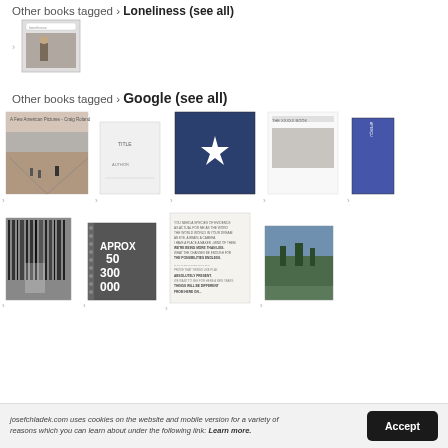Other books tagged > Loneliness (see all)
[Figure (screenshot): Single book thumbnail showing a figure with a book cover, under the Loneliness tag]
Other books tagged > Google (see all)
[Figure (screenshot): Grid of book covers tagged Google - two rows of approximately 5 books each including photography books and art books]
josefchladek.com uses cookies on the website and mobile version for a variety of reasons which you can learn about under the following link: Learn more.